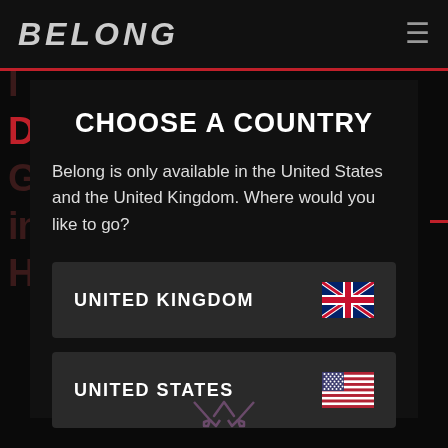BELONG
CHOOSE A COUNTRY
Belong is only available in the United States and the United Kingdom. Where would you like to go?
UNITED KINGDOM
UNITED STATES